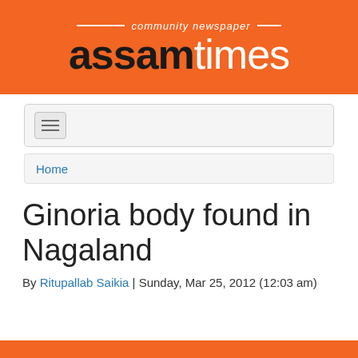[Figure (logo): Assam Times community newspaper logo — orange banner with 'community newspaper' text in italic and 'assamtimes' in large bold/light font in black and white]
[Figure (screenshot): Navigation bar with hamburger menu icon]
Home
Ginoria body found in Nagaland
By Ritupallab Saikia | Sunday, Mar 25, 2012 (12:03 am)